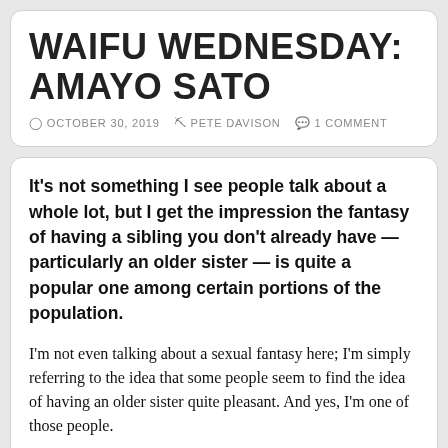WAIFU WEDNESDAY: AMAYO SATO
OCTOBER 30, 2019  PETE DAVISON  1 COMMENT
It's not something I see people talk about a whole lot, but I get the impression the fantasy of having a sibling you don't already have — particularly an older sister — is quite a popular one among certain portions of the population.
I'm not even talking about a sexual fantasy here; I'm simply referring to the idea that some people seem to find the idea of having an older sister quite pleasant. And yes, I'm one of those people.
We're certainly well-catered to when it comes to Japanese popular media, at least, with a whole host of charming onee-chans out there just waiting to take care of us. The most recent